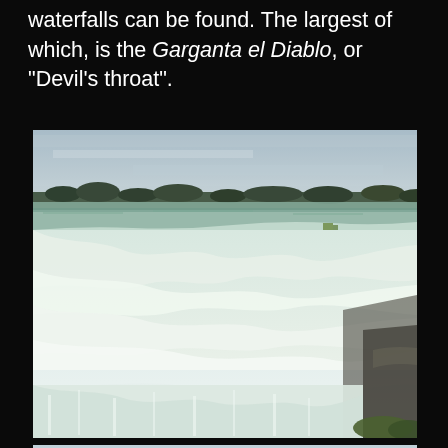waterfalls can be found. The largest of which, is the Garganta el Diablo, or "Devil's throat".
[Figure (photo): Photograph of the Garganta el Diablo (Devil's Throat) waterfall at Iguazu Falls, showing massive white churning water cascading over the edge with mist rising, under an overcast sky.]
[Figure (photo): Second photograph, partially visible at bottom of page, showing a wide water landscape with sky and distant land, likely another view of the Iguazu Falls area.]